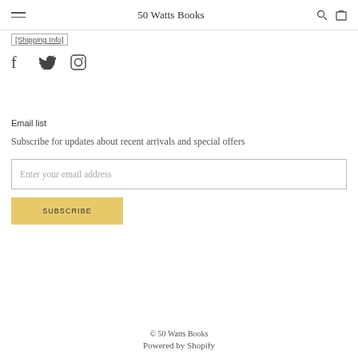50 Watts Books
[Shipping Info]
[Figure (other): Social media icons: Facebook, Twitter, Instagram]
Email list
Subscribe for updates about recent arrivals and special offers
Enter your email address
SUBSCRIBE
© 50 Watts Books
Powered by Shopify